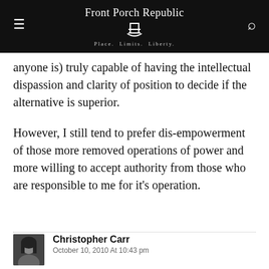Front Porch Republic — Place. Limits. Liberty.
anyone is) truly capable of having the intellectual dispassion and clarity of position to decide if the alternative is superior.
However, I still tend to prefer dis-empowerment of those more removed operations of power and more willing to accept authority from those who are responsible to me for it's operation.
Christopher Carr
October 10, 2010 At 10:43 pm